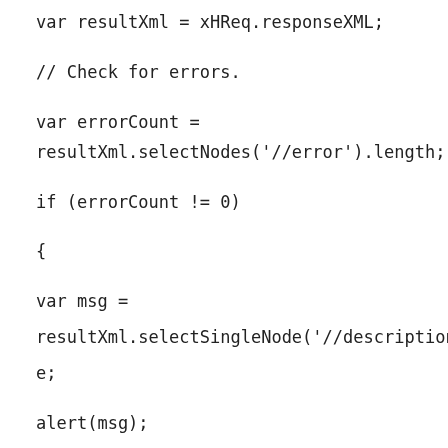var resultXml = xHReq.responseXML;
// Check for errors.
var errorCount = resultXml.selectNodes('//error').length;
if (errorCount != 0)
{
var msg =
resultXml.selectSingleNode('//description').nodeTypedValue;
alert(msg);
}
// Open new contact record if no errors.